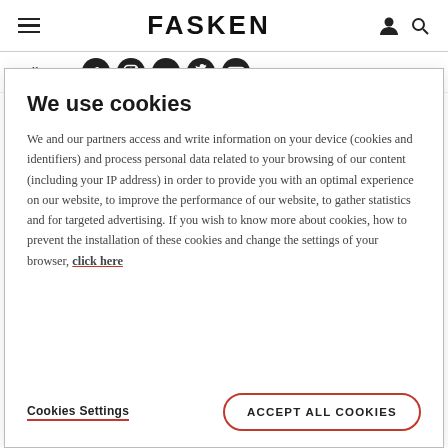FASKEN
Follow us
We use cookies
We and our partners access and write information on your device (cookies and identifiers) and process personal data related to your browsing of our content (including your IP address) in order to provide you with an optimal experience on our website, to improve the performance of our website, to gather statistics and for targeted advertising. If you wish to know more about cookies, how to prevent the installation of these cookies and change the settings of your browser, click here
Cookies Settings
ACCEPT ALL COOKIES